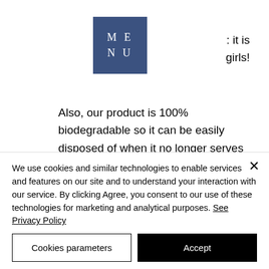[Figure (logo): Square dark blue logo with white serif text 'ME NU' arranged in two lines with letter spacing]
: it is girls!
Also, our product is 100% biodegradable so it can be easily disposed of when it no longer serves its purpose. We are confident that our product will fulfill its purpose of enhancing performance and body shape.
All of our capsules are made of 100% pure and unique amino acids which enable them
We use cookies and similar technologies to enable services and features on our site and to understand your interaction with our service. By clicking Agree, you consent to our use of these technologies for marketing and analytical purposes. See Privacy Policy
Cookies parameters
Accept